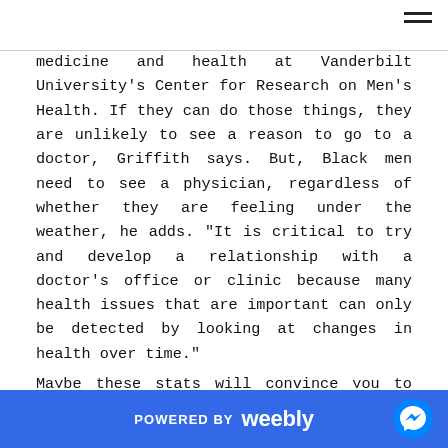medicine and health at Vanderbilt University's Center for Research on Men's Health. If they can do those things, they are unlikely to see a reason to go to a doctor, Griffith says. But, Black men need to see a physician, regardless of whether they are feeling under the weather, he adds. "It is critical to try and develop a relationship with a doctor's office or clinic because many health issues that are important can only be detected by looking at changes in health over time."
Maybe these stats will convince you to make your health a priority:
African-American men are 30 percent more likely to die from heart disease than White males
POWERED BY weebly